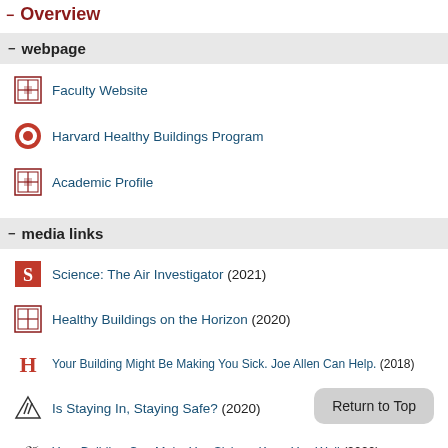Overview
webpage
Faculty Website
Harvard Healthy Buildings Program
Academic Profile
media links
Science: The Air Investigator (2021)
Healthy Buildings on the Horizon (2020)
Your Building Might Be Making You Sick. Joe Allen Can Help. (2018)
Is Staying In, Staying Safe? (2020)
Your Building Can Make You Sick, or Keep You Well (2020)
Washington Post: Our Favorite Op-Eds of 2020 (2020)
Forever Chemicals (2018)
Stop playing whack-a-mole with hazardous chemicals (2016)